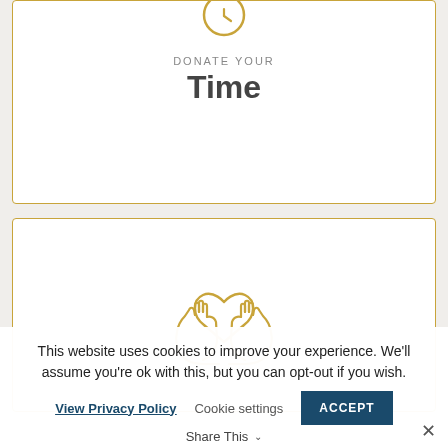[Figure (illustration): Clock icon outline in gold/orange at top of first card]
DONATE YOUR
Time
[Figure (illustration): Two hands holding a heart icon outline in gold/orange in second card]
This website uses cookies to improve your experience. We'll assume you're ok with this, but you can opt-out if you wish.
View Privacy Policy   Cookie settings   ACCEPT   Share This   ✕